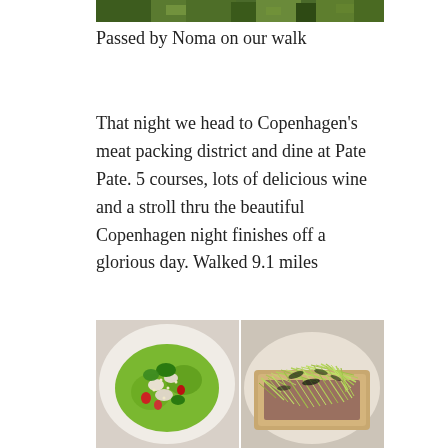[Figure (photo): Partial view of outdoor greenery/grass scene, cropped at top of page]
Passed by Noma on our walk
That night we head to Copenhagen’s meat packing district and dine at Pate Pate. 5 courses, lots of delicious wine and a stroll thru the beautiful Copenhagen night finishes off a glorious day. Walked 9.1 miles
[Figure (photo): Two food dish photos side by side: left shows a green salad with strawberries and herbs on a white plate; right shows a dish with shredded greens/herbs on flatbread on a white plate]